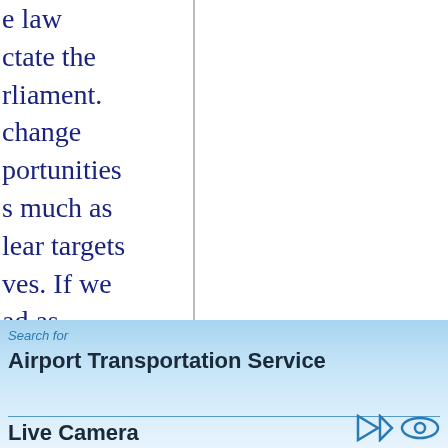e law ctate the rliament. change portunities s much as lear targets ves. If we ad as ble onja earch. Sonja wn up as ft with a s more re many ark ore. People althily.
Search for
Airport Transportation Service
Live Camera